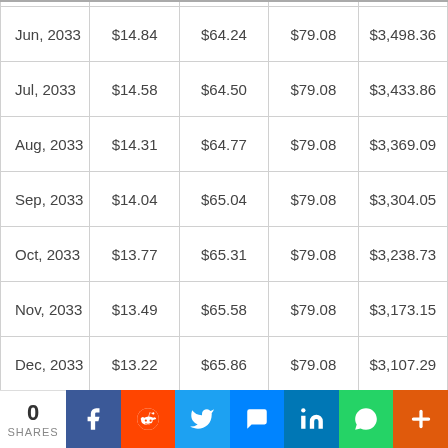| Date | Interest | Principal | Payment | Balance |
| --- | --- | --- | --- | --- |
| Jun, 2033 | $14.84 | $64.24 | $79.08 | $3,498.36 |
| Jul, 2033 | $14.58 | $64.50 | $79.08 | $3,433.86 |
| Aug, 2033 | $14.31 | $64.77 | $79.08 | $3,369.09 |
| Sep, 2033 | $14.04 | $65.04 | $79.08 | $3,304.05 |
| Oct, 2033 | $13.77 | $65.31 | $79.08 | $3,238.73 |
| Nov, 2033 | $13.49 | $65.58 | $79.08 | $3,173.15 |
| Dec, 2033 | $13.22 | $65.86 | $79.08 | $3,107.29 |
| Jan, 2034 | $12.95 | $66.13 | $79.08 | $3,041.16 |
| Feb, 2034 | $12.67 | $66.41 | $79.08 | $2,974.75 |
| Mar, 2034 | $12.39 | $66.68 | $79.08 | $2,908.07 |
| Apr, 2034 | $12.12 | $66.96 | $79.08 | $2,841.10 |